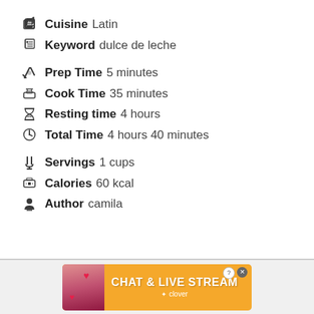Cuisine Latin
Keyword dulce de leche
Prep Time 5 minutes
Cook Time 35 minutes
Resting time 4 hours
Total Time 4 hours 40 minutes
Servings 1 cups
Calories 60 kcal
Author camila
[Figure (photo): Advertisement banner at bottom: orange background with 'CHAT & LIVE STREAM' text and Clover logo, with a photo of a woman on a beach on the left side]